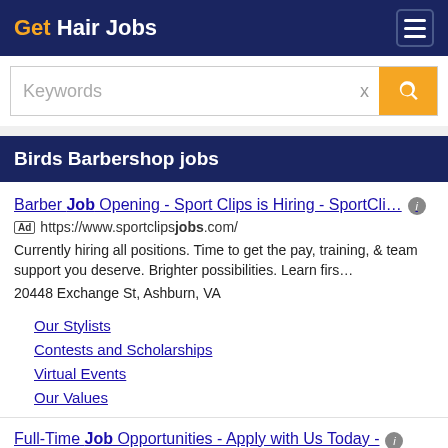Get Hair Jobs
Keywords
Birds Barbershop jobs
Barber Job Opening - Sport Clips is Hiring - SportCli…
Ad https://www.sportclipsjobs.com/
Currently hiring all positions. Time to get the pay, training, & team support you deserve. Brighter possibilities. Learn firs… 20448 Exchange St, Ashburn, VA
Our Stylists
Contests and Scholarships
Virtual Events
Our Values
Full-Time Job Opportunities - Apply with Us Today -